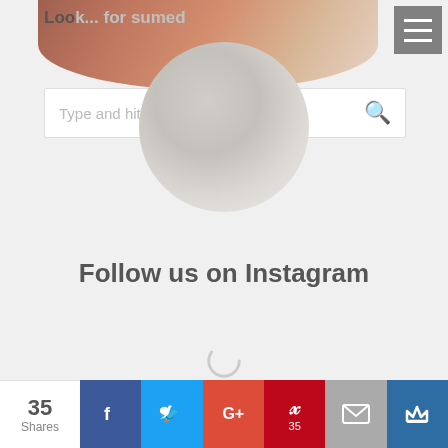[Figure (screenshot): Website header with partial photo of people, navigation hamburger menu, and search bar]
Follow us on Instagram
[Figure (other): Loading spinner (circular progress indicator)]
35 Shares | Facebook | Twitter | G+ | Pinterest (35) | Email | Crown